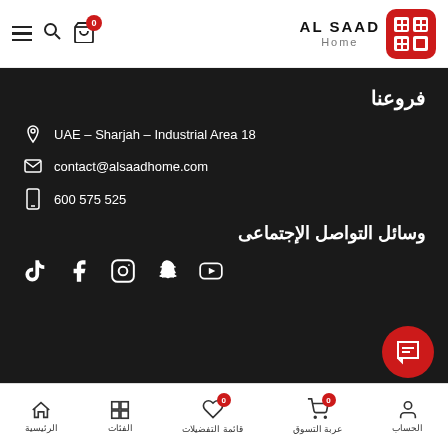AL SAAD Home - Navigation header with hamburger menu, search, cart (0 items), and logo
فروعنا
UAE – Sharjah – Industrial Area 18
contact@alsaadhome.com
600 575 525
وسائل التواصل الإجتماعى
[Figure (logo): Social media icons: TikTok, Facebook, Instagram, Snapchat, YouTube]
Bottom navigation bar: الرئيسية (Home), الفئات (Categories), قائمة التفضيلات (Wishlist, 0), عربة التسوق (Cart, 0), الحساب (Account)